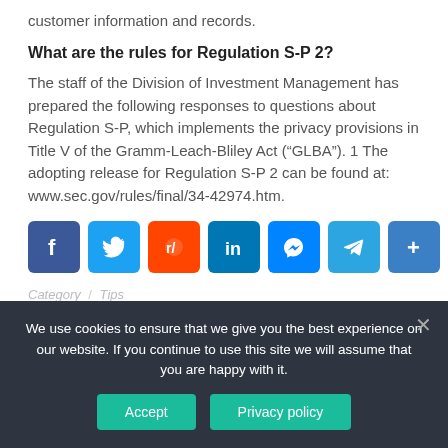customer information and records.
What are the rules for Regulation S-P 2?
The staff of the Division of Investment Management has prepared the following responses to questions about Regulation S-P, which implements the privacy provisions in Title V of the Gramm-Leach-Bliley Act (“GLBA”). 1 The adopting release for Regulation S-P 2 can be found at: www.sec.gov/rules/final/34-42974.htm.
[Figure (infographic): Social media sharing buttons: Facebook, Twitter, Reddit, LinkedIn, Messenger, Telegram, Share]
Category / Tips
We use cookies to ensure that we give you the best experience on our website. If you continue to use this site we will assume that you are happy with it.